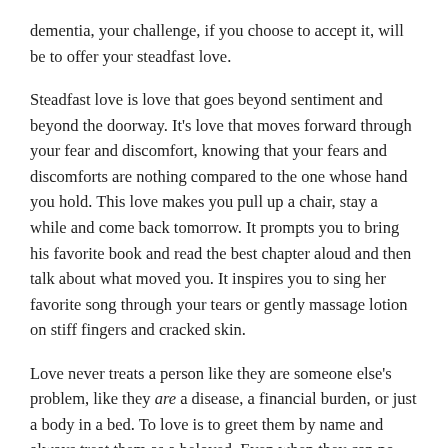dementia, your challenge, if you choose to accept it, will be to offer your steadfast love.
Steadfast love is love that goes beyond sentiment and beyond the doorway. It's love that moves forward through your fear and discomfort, knowing that your fears and discomforts are nothing compared to the one whose hand you hold. This love makes you pull up a chair, stay a while and come back tomorrow. It prompts you to bring his favorite book and read the best chapter aloud and then talk about what moved you. It inspires you to sing her favorite song through your tears or gently massage lotion on stiff fingers and cracked skin.
Love never treats a person like they are someone else's problem, like they are a disease, a financial burden, or just a body in a bed. To love is to greet them by name and always treat them as a beloved. Even when they can no longer speak. Or when they've forgotten your name. And especially when they no longer sound, smell or feel like the person we once knew.